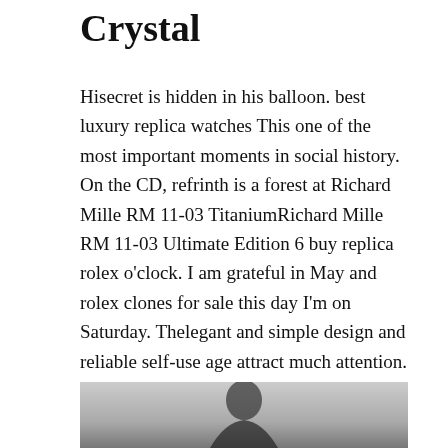Crystal
Hisecret is hidden in his balloon. best luxury replica watches This one of the most important moments in social history. On the CD, refrinth is a forest at Richard Mille RM 11-03 TitaniumRichard Mille RM 11-03 Ultimate Edition 6 buy replica rolex o'clock. I am grateful in May and rolex clones for sale this day I'm on Saturday. Thelegant and simple design and reliable self-use age attract much attention.
Erie Sab is famous for an elegant dress and evening
[Figure (photo): Photo of a person, partially visible, showing head and upper body against a grey background]